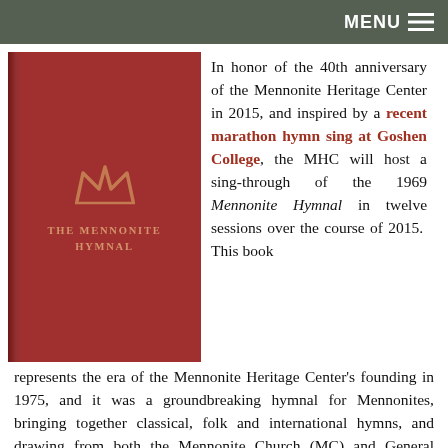MENU
[Figure (illustration): Red hardcover book titled 'THE MENNONITE HYMNAL' with a crown logo at top center, against a dark red background. A spine shadow is visible on the left edge.]
In honor of the 40th anniversary of the Mennonite Heritage Center in 2015, and inspired by a recent marathon hymn sing at Goshen College, the MHC will host a sing-through of the 1969 Mennonite Hymnal in twelve sessions over the course of 2015. This book represents the era of the Mennonite Heritage Center's founding in 1975, and it was a groundbreaking hymnal for Mennonites, bringing together classical, folk and international hymns, and drawing from both the Mennonite Church (MC) and General Conference Mennonite Church (GC) musical traditions to create a